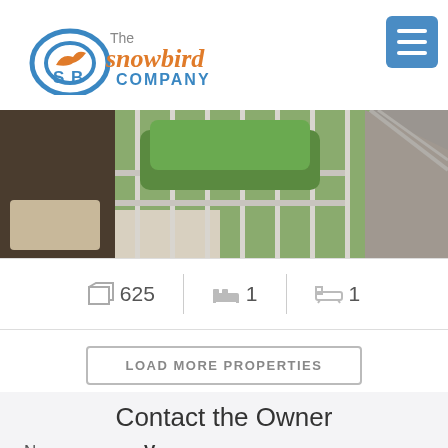[Figure (logo): The Snowbird Company logo with bird icon, blue and orange text]
[Figure (photo): Balcony/patio view with metal railing and green hedges/garden]
625  1  1
LOAD MORE PROPERTIES
Contact the Owner
Name: Vacasa
Telephone: (321) 802 2299